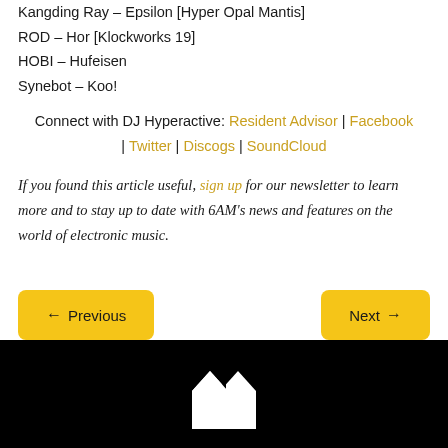Kangding Ray – Epsilon [Hyper Opal Mantis]
ROD – Hor [Klockworks 19]
HOBI – Hufeisen
Synebot – Koo!
Connect with DJ Hyperactive: Resident Advisor | Facebook | Twitter | Discogs | SoundCloud
If you found this article useful, sign up for our newsletter to learn more and to stay up to date with 6AM's news and features on the world of electronic music.
[Figure (other): Navigation buttons: Previous (left arrow) and Next (right arrow), gold/yellow background rounded rectangles]
[Figure (logo): Black footer bar with a white geometric logo (house/diamond shape) centered]